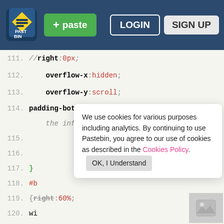[Figure (screenshot): Pastebin website header with logo, green paste button, login and sign up buttons on dark navy background]
111.   //right:0px;
112.   overflow-x:hidden;
113.   overflow-y:scroll;
114.   padding-bottom:48px;/* this is to accommodate the info and settings buttons */
115.
116.
117.   }
118.   #b
119.   {right:60%;
120.   wi
121.
122.   #box-upgrades
123.   {right:75%;}
124.
125.   #box-buildings2
126.   {
We use cookies for various purposes including analytics. By continuing to use Pastebin, you agree to our use of cookies as described in the Cookies Policy.   OK, I Understand
Not a member of Pastebin yet?
Sign Up, it unlocks many cool features!